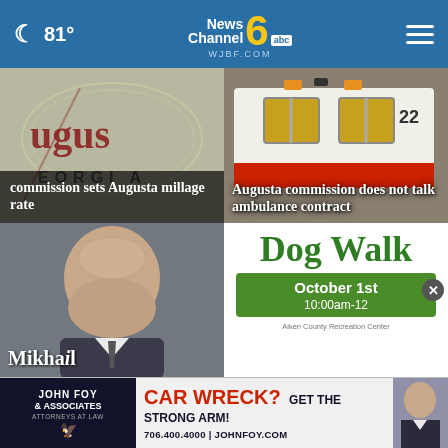🌙 81° | News Channel 6 WJBF.COM abc
[Figure (screenshot): Augusta Georgia city logo/seal blurred background with overlay text: 'commission sets Augusta millage rate']
commission sets Augusta millage rate
[Figure (photo): Ambulance number 22 rear view with overlay text: 'Augusta commission does not talk ambulance contract']
Augusta commission does not talk ambulance contract
[Figure (photo): Bald man looking downward, partially visible, text 'Mikhail' at bottom]
[Figure (infographic): Dog Walk event flyer: October 1st, 10:00am-12, Aiken County Recreation Center]
Dog Walk
October 1st
10:00am-12
Aiken County Recreation Center
[Figure (other): John Foy & Associates advertisement banner: CAR WRECK? GET THE STRONG ARM! 706.400.4000 | JOHNFOY.COM]